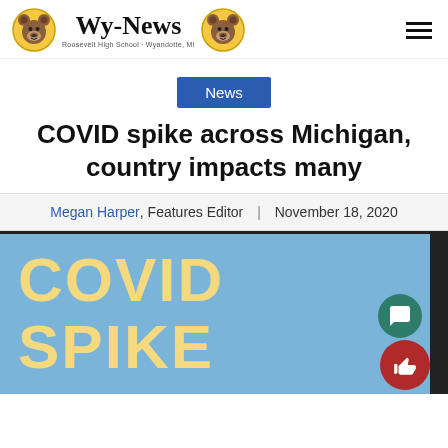Wy-News | Roosevelt High School · Wyandotte, MI
News
COVID spike across Michigan, country impacts many
Megan Harper, Features Editor | November 18, 2020
[Figure (illustration): Blue background image with bold yellow text reading 'COVID SPIKE']